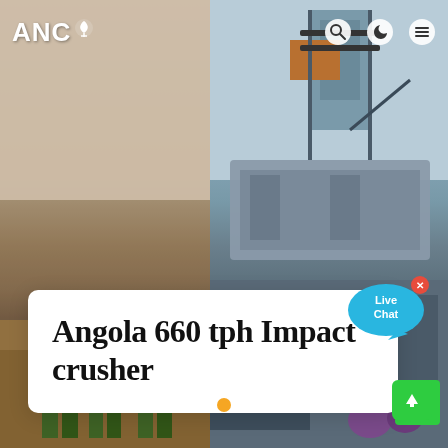[Figure (photo): Website screenshot showing ANC logo in top-left, navigation icons (search, moon/dark mode, hamburger menu) in top-right, background photo split into two panels: left panel shows workers/people standing in a dusty outdoor scene, right panel shows industrial crushing machinery (grey metal structure). A white card overlays the lower center with the title 'Angola 660 tph Impact crusher'. A live chat bubble appears top-right of the card. Slider navigation dots at bottom center (three dots, middle orange). Green scroll-to-top button bottom-right.]
ANC
Angola 660 tph Impact crusher